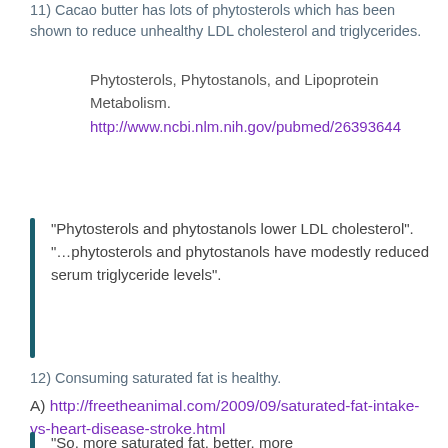11) Cacao butter has lots of phytosterols which has been shown to reduce unhealthy LDL cholesterol and triglycerides.
Phytosterols, Phytostanols, and Lipoprotein Metabolism.
http://www.ncbi.nlm.nih.gov/pubmed/26393644
“Phytosterols and phytostanols lower LDL cholesterol”. “…phytosterols and phytostanols have modestly reduced serum triglyceride levels”.
12) Consuming saturated fat is healthy.
A) http://freetheanimal.com/2009/09/saturated-fat-intake-vs-heart-disease-stroke.html
“So, more saturated fat, better, more…